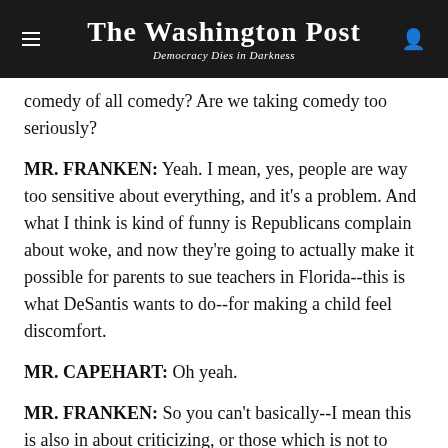The Washington Post — Democracy Dies in Darkness
comedy of all comedy? Are we taking comedy too seriously?
MR. FRANKEN: Yeah. I mean, yes, people are way too sensitive about everything, and it's a problem. And what I think is kind of funny is Republicans complain about woke, and now they're going to actually make it possible for parents to sue teachers in Florida--this is what DeSantis wants to do--for making a child feel discomfort.
MR. CAPEHART: Oh yeah.
MR. FRANKEN: So you can't basically--I mean this is also in about criticizing, or those which is not to what